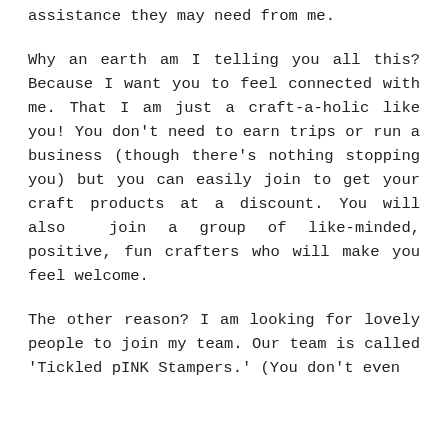assistance they may need from me.
Why an earth am I telling you all this? Because I want you to feel connected with me. That I am just a craft-a-holic like you! You don't need to earn trips or run a business (though there's nothing stopping you) but you can easily join to get your craft products at a discount. You will also join a group of like-minded, positive, fun crafters who will make you feel welcome.
The other reason? I am looking for lovely people to join my team. Our team is called 'Tickled pINK Stampers.' (You don't even